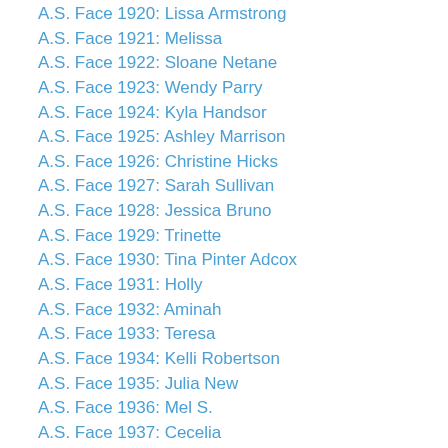A.S. Face 1920: Lissa Armstrong
A.S. Face 1921: Melissa
A.S. Face 1922: Sloane Netane
A.S. Face 1923: Wendy Parry
A.S. Face 1924: Kyla Handsor
A.S. Face 1925: Ashley Marrison
A.S. Face 1926: Christine Hicks
A.S. Face 1927: Sarah Sullivan
A.S. Face 1928: Jessica Bruno
A.S. Face 1929: Trinette
A.S. Face 1930: Tina Pinter Adcox
A.S. Face 1931: Holly
A.S. Face 1932: Aminah
A.S. Face 1933: Teresa
A.S. Face 1934: Kelli Robertson
A.S. Face 1935: Julia New
A.S. Face 1936: Mel S.
A.S. Face 1937: Cecelia
A.S. Face 1938: Stacy Nowak
A.S. Face 1939: Renette